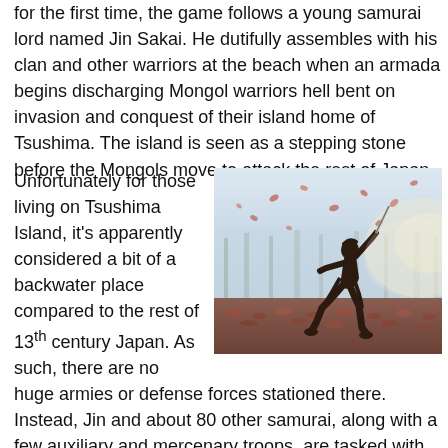for the first time, the game follows a young samurai lord named Jin Sakai. He dutifully assembles with his clan and other warriors at the beach when an armada begins discharging Mongol warriors hell bent on invasion and conquest of their island home of Tsushima. The island is seen as a stepping stone before the Mongols move to attack the rest of Japan.
Unfortunately for those living on Tsushima Island, it's apparently considered a bit of a backwater place compared to the rest of 13th century Japan. As such, there are no huge armies or defense forces stationed there. Instead, Jin and about 80 other samurai, along with a few auxiliary and mercenary troops, are tasked with leading the
[Figure (photo): A silhouette of a samurai warrior in a fighting stance holding a sword, surrounded by falling red maple leaves on the ground, with a misty forest background]